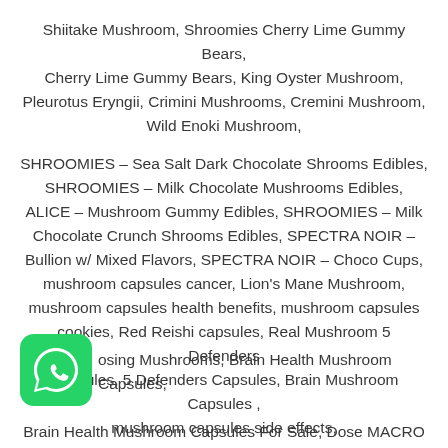Shiitake Mushroom, Shroomies Cherry Lime Gummy Bears, Cherry Lime Gummy Bears, King Oyster Mushroom, Pleurotus Eryngii, Crimini Mushrooms, Cremini Mushroom, Wild Enoki Mushroom,
SHROOMIES – Sea Salt Dark Chocolate Shrooms Edibles, SHROOMIES – Milk Chocolate Mushrooms Edibles, ALICE – Mushroom Gummy Edibles, SHROOMIES – Milk Chocolate Crunch Shrooms Edibles, SPECTRA NOIR – Bullion w/ Mixed Flavors, SPECTRA NOIR – Choco Cups, mushroom capsules cancer, Lion's Mane Mushroom, mushroom capsules health benefits, mushroom capsules cookies, Red Reishi capsules, Real Mushroom 5 Defenders Capsules, 5 Defenders Capsules, Brain Mushroom Capsules , mushroom capsules side effects,
[Figure (logo): WhatsApp logo icon - green rounded square with white phone/message icon]
osing Mushrooms, Brain Health Mushroom Capsules, Brain Health Mushroom Capsules For Sale, Dose MACRO